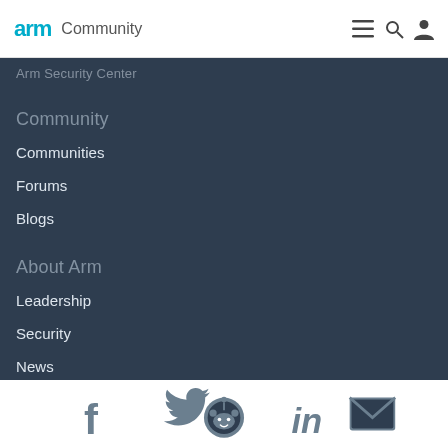arm Community
Arm Security Center
Community
Communities
Forums
Blogs
About Arm
Leadership
Security
News
Contact Us
Arm Offices
[Figure (infographic): Social media icons row: Facebook, Twitter, Reddit, LinkedIn, Email]